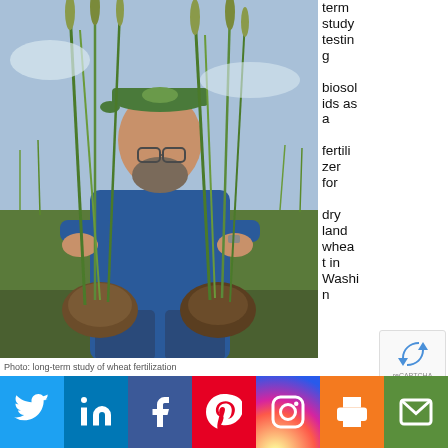[Figure (photo): A man wearing a cap and blue shirt stands in a green wheat field holding two wheat plants with root balls and soil attached, showing comparison of plant growth in an agricultural research setting.]
term study testing biosolids as a fertilizer for dry land wheat in Washington
Photo: long-term study of wheat fertilization
[Figure (other): reCAPTCHA badge with recycle-arrow icon]
[Figure (other): Social sharing bar with buttons: Twitter, LinkedIn, Facebook, Pinterest, Instagram, Print, Email]